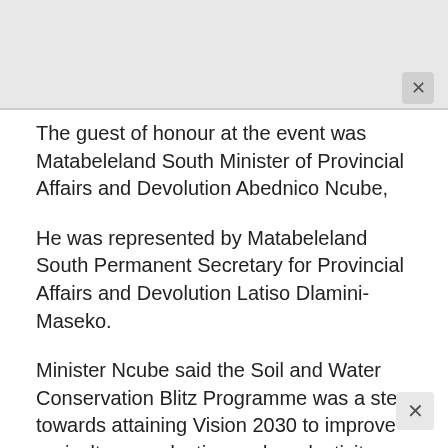[Figure (photo): Photograph placeholder at top of page (grey/light area)]
The guest of honour at the event was Matabeleland South Minister of Provincial Affairs and Devolution Abednico Ncube,
He was represented by Matabeleland South Permanent Secretary for Provincial Affairs and Devolution Latiso Dlamini-Maseko.
Minister Ncube said the Soil and Water Conservation Blitz Programme was a step towards attaining Vision 2030 to improve agriculture production and productivity, thereby ensuring household food security.